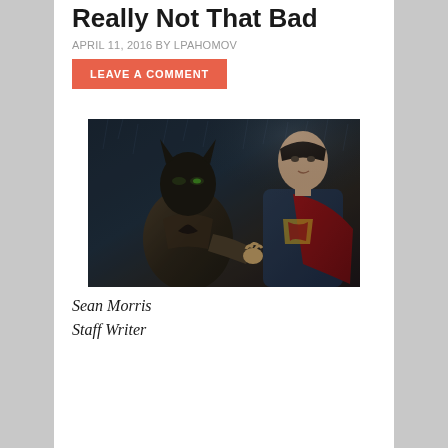Really Not That Bad
APRIL 11, 2016 BY LPAHOMOV
LEAVE A COMMENT
[Figure (photo): Batman and Superman facing each other in the rain, from Batman v Superman movie. Batman in dark armored suit on the left, Superman in blue suit with red cape on the right.]
Sean Morris
Staff Writer